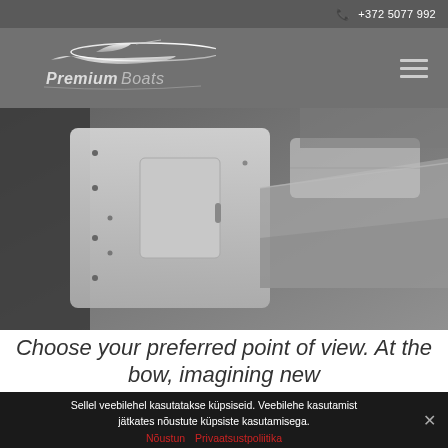+372 5077 992
[Figure (logo): Premium Boats logo with stylized speedboat silhouette above the text 'Premium Boats']
[Figure (photo): Interior of a boat showing white fiberglass surfaces, seating areas, and cockpit details in grayscale]
Choose your preferred point of view. At the bow, imagining new
Sellel veebilehel kasutatakse küpsiseid. Veebilehe kasutamist jätkates nõustute küpsiste kasutamisega.
Nõustun   Privaatsustpoliitika